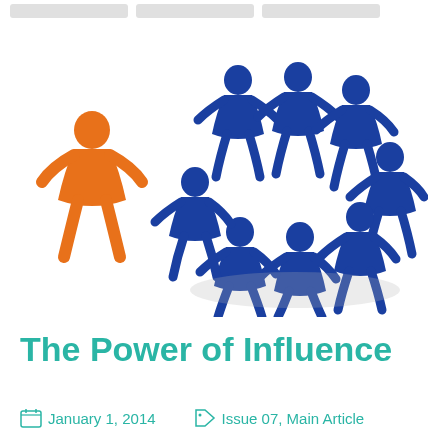[navigation buttons]
[Figure (illustration): Paper cutout figures: one orange figure standing apart on the left, and a circle of blue paper cutout figures holding hands on a white background, illustrating the concept of influence and group dynamics.]
The Power of Influence
January 1, 2014   Issue 07, Main Article